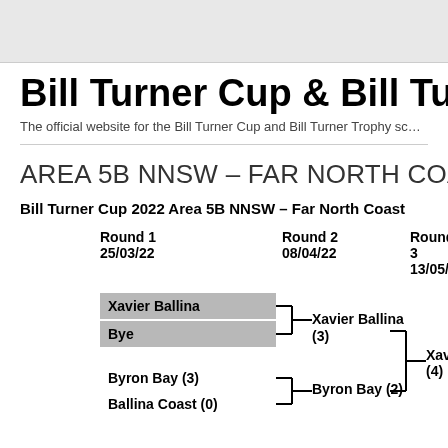Bill Turner Cup & Bill Turner Trophy
The official website for the Bill Turner Cup and Bill Turner Trophy sc...
AREA 5B NNSW – FAR NORTH COAST
Bill Turner Cup 2022 Area 5B NNSW – Far North Coast
[Figure (flowchart): Tournament bracket showing Round 1 (25/03/22), Round 2 (08/04/22), Round 3 (13/05/22). Round 1: Xavier Ballina vs Bye; Byron Bay (3) vs Ballina Coast (0). Round 2: Xavier Ballina (3); Byron Bay (2). Round 3: Xavier Ballina (4).]